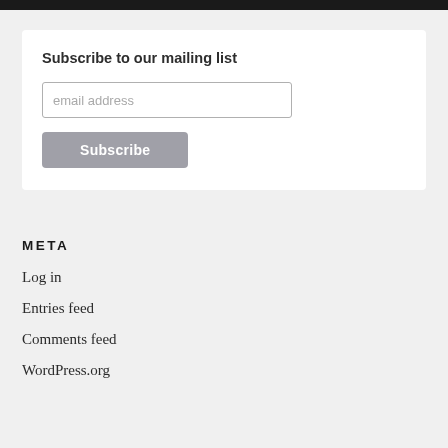Subscribe to our mailing list
email address
Subscribe
META
Log in
Entries feed
Comments feed
WordPress.org